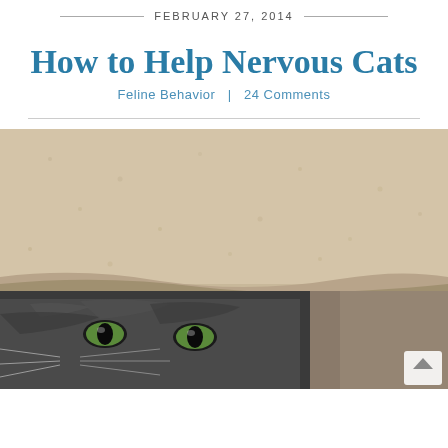FEBRUARY 27, 2014
How to Help Nervous Cats
Feline Behavior  |  24 Comments
[Figure (photo): Close-up photo of a cat hiding under a beige/tan textured blanket or carpet, with only its green eyes and forehead visible peeking out from underneath.]